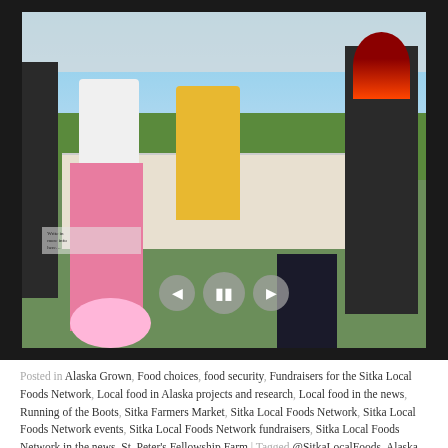[Figure (photo): Outdoor community event photo under a tent. People sit around a table with papers and items. A child in a pink tutu stands at the table. A woman with vivid red-orange hair in a dark outfit stands to the right. Slideshow navigation controls (back, pause, forward) are overlaid at the bottom center of the image.]
Posted in Alaska Grown, Food choices, food security, Fundraisers for the Sitka Local Foods Network, Local food in Alaska projects and research, Local food in the news, Running of the Boots, Sitka Farmers Market, Sitka Local Foods Network, Sitka Local Foods Network events, Sitka Local Foods Network fundraisers, Sitka Local Foods Network in the news, St. Peter's Fellowship Farm | Tagged @SitkaLocalFoods, Alaska Cruise Line Association, Charlie Woodcock, community garden, community greenhouse, costumed fun run fundraiser, education, Greater Sitka Chamber of Commerce, Running of the Boots, Season's End Celebration, Sitka, Sitka Farmers Market, Sitka Health Summit,